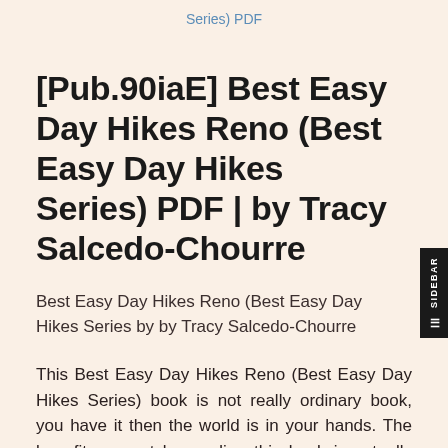Series) PDF
[Pub.90iaE] Best Easy Day Hikes Reno (Best Easy Day Hikes Series) PDF | by Tracy Salcedo-Chourre
Best Easy Day Hikes Reno (Best Easy Day Hikes Series by by Tracy Salcedo-Chourre
This Best Easy Day Hikes Reno (Best Easy Day Hikes Series) book is not really ordinary book, you have it then the world is in your hands. The benefit you get by reading this book is actually information inside this reserve incredible for how you will get information which is atti